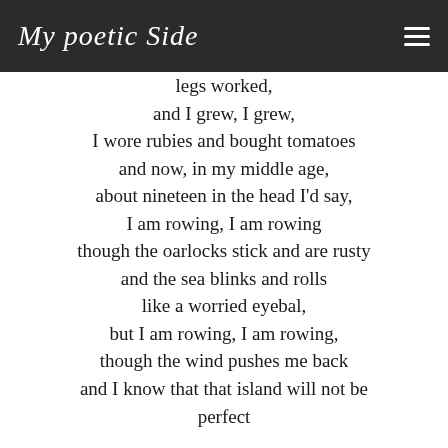My poetic Side
legs worked,
and I grew, I grew,
I wore rubies and bought tomatoes
and now, in my middle age,
about nineteen in the head I'd say,
I am rowing, I am rowing
though the oarlocks stick and are rusty
and the sea blinks and rolls
like a worried eyebal,
but I am rowing, I am rowing,
though the wind pushes me back
and I know that that island will not be
perfect